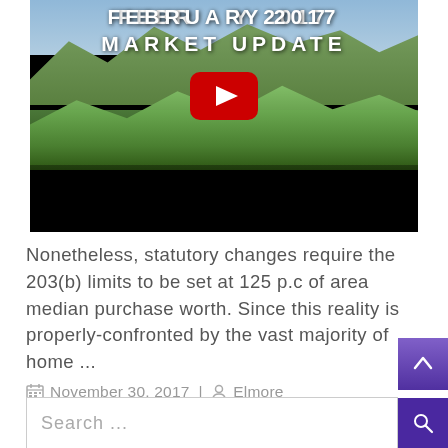[Figure (screenshot): YouTube video thumbnail showing aerial landscape of green hills and mountains with text 'FEBRUARY 2017 MARKET UPDATE' overlaid, and a YouTube play button in the center. Bottom portion is black.]
Nonetheless, statutory changes require the 203(b) limits to be set at 125 p.c of area median purchase worth. Since this reality is properly-confronted by the vast majority of home ...
November 30, 2017 | Elmore